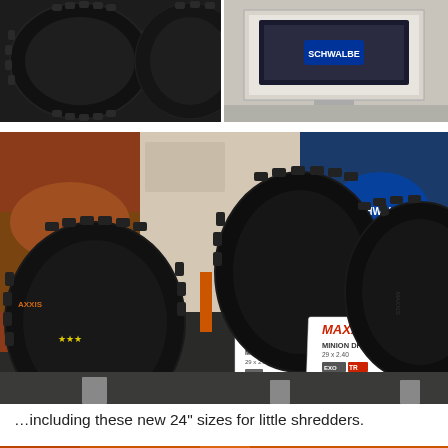[Figure (photo): Top-left photo showing close-up of dark mountain bike tire with aggressive knob tread pattern on display]
[Figure (photo): Top-right photo showing partial view of a light colored display stand or monitor at a trade show]
[Figure (photo): Large main photo of Maxxis mountain bike tires on display at a trade show. Two product cards visible: 'MAXXIS MINION DHF' and 'MAXXIS MINION DHR II 29x2.40' with available sizes listed. Background shows trade show booth with orange accents, a person browsing, and Schwalbe branding.]
…including these new 24" sizes for little shredders.
[Figure (photo): Partial view of orange trade show display or product at the bottom of the page]